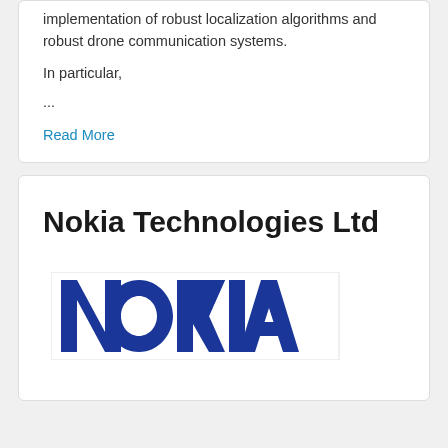implementation of robust localization algorithms and robust drone communication systems.
In particular,
...
Read More
Nokia Technologies Ltd
[Figure (logo): Nokia logo in bold blue capital letters on white background]